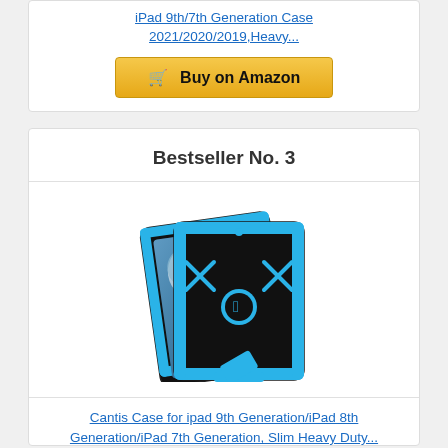iPad 9th/7th Generation Case 2021/2020/2019,Heavy...
Buy on Amazon
Bestseller No. 3
[Figure (photo): Black and blue heavy-duty iPad case with kickstand, shown from multiple angles]
Cantis Case for ipad 9th Generation/iPad 8th Generation/iPad 7th Generation, Slim Heavy Duty...